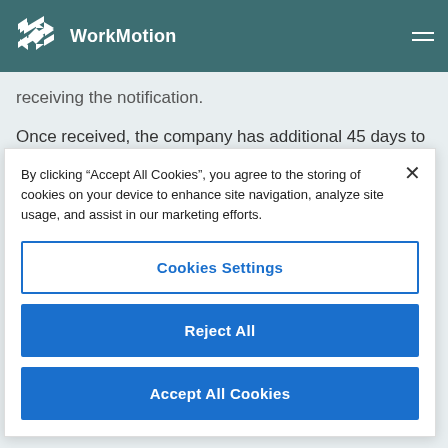WorkMotion
receiving the notification.
Once received, the company has additional 45 days to
By clicking “Accept All Cookies”, you agree to the storing of cookies on your device to enhance site navigation, analyze site usage, and assist in our marketing efforts.
Cookies Settings
Reject All
Accept All Cookies